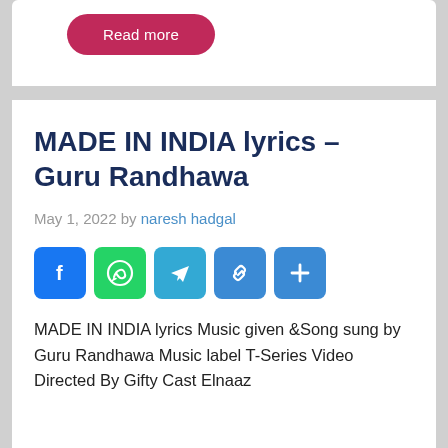Read more
MADE IN INDIA lyrics – Guru Randhawa
May 1, 2022 by naresh hadgal
[Figure (infographic): Social share icons: Facebook (blue), WhatsApp (green), Telegram (cyan), Link (blue), More/Plus (blue)]
MADE IN INDIA lyrics Music given &Song sung by Guru Randhawa Music label T-Series Video Directed By Gifty Cast Elnaaz